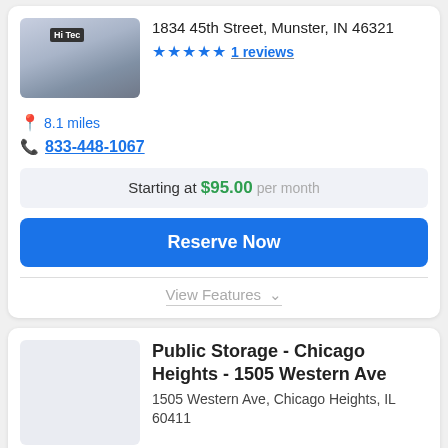[Figure (photo): Photo of Hi Tec storage/moving truck facility at 1834 45th Street, Munster, IN]
1834 45th Street, Munster, IN 46321
8.1 miles
★★★★★ 1 reviews
833-448-1067
Starting at $95.00 per month
Reserve Now
View Features ∨
[Figure (photo): Placeholder image for Public Storage Chicago Heights location]
Public Storage - Chicago Heights - 1505 Western Ave
1505 Western Ave, Chicago Heights, IL 60411
1.9 miles
★★★★★ 34 reviews